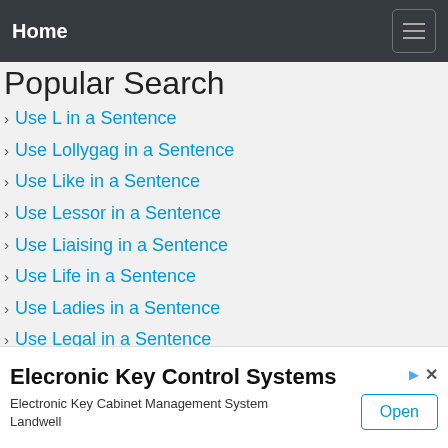Home
Popular Search
Use L in a Sentence
Use Lollygag in a Sentence
Use Like in a Sentence
Use Lessor in a Sentence
Use Liaising in a Sentence
Use Life in a Sentence
Use Ladies in a Sentence
Use Legal in a Sentence
Elecronic Key Control Systems
Electronic Key Cabinet Management System
Landwell